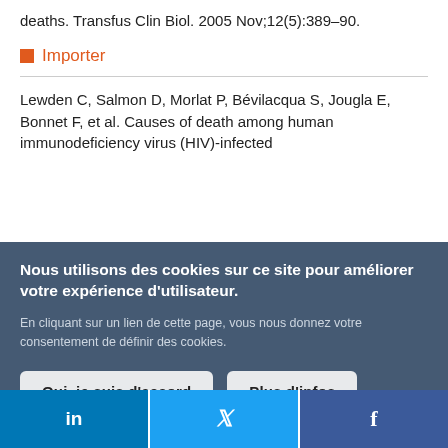deaths. Transfus Clin Biol. 2005 Nov;12(5):389–90.
Importer
Lewden C, Salmon D, Morlat P, Bévilacqua S, Jougla E, Bonnet F, et al. Causes of death among human immunodeficiency virus (HIV)-infected
Nous utilisons des cookies sur ce site pour améliorer votre expérience d'utilisateur. En cliquant sur un lien de cette page, vous nous donnez votre consentement de définir des cookies.
Oui, je suis d'accord   Plus d'infos